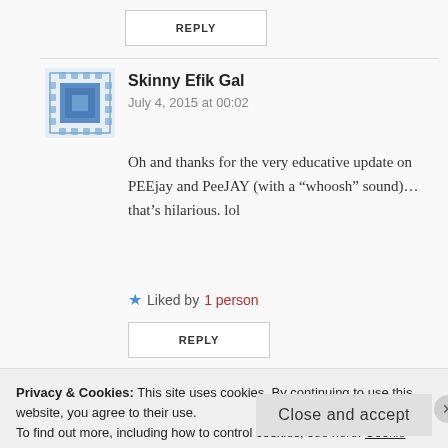REPLY
[Figure (illustration): Blue geometric/quilted pattern avatar for Skinny Efik Gal]
Skinny Efik Gal
July 4, 2015 at 00:02
Oh and thanks for the very educative update on PEEjay and PeeJAY (with a “whoosh” sound)… that’s hilarious. lol
★ Liked by 1 person
REPLY
[Figure (photo): Photo avatar of Nedoux]
Nedoux
Privacy & Cookies: This site uses cookies. By continuing to use this website, you agree to their use.
To find out more, including how to control cookies, see here: Cookie Policy
Close and accept